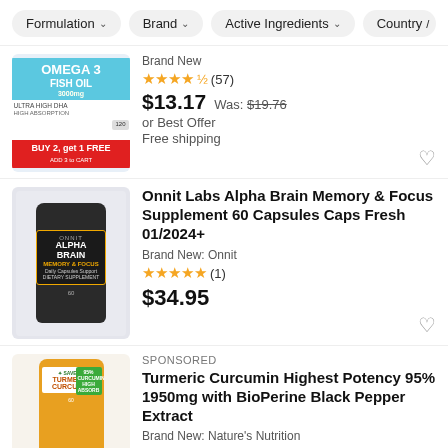Formulation | Brand | Active Ingredients | Country/
[Figure (photo): Omega 3 Fish Oil supplement bottle with BUY 2, get 1 FREE banner]
Brand New
★★★★½ (57)
$13.17  Was: $19.76
or Best Offer
Free shipping
[Figure (photo): Onnit Alpha Brain Memory & Focus dark supplement bottle]
Onnit Labs Alpha Brain Memory & Focus Supplement 60 Capsules Caps Fresh 01/2024+
Brand New: Onnit
★★★★★ (1)
$34.95
SPONSORED
[Figure (photo): Turmeric Curcumin supplement bottle in orange/yellow color]
Turmeric Curcumin Highest Potency 95% 1950mg with BioPerine Black Pepper Extract
Brand New: Nature's Nutrition